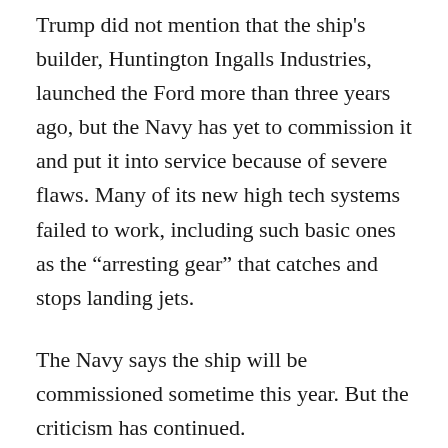Trump did not mention that the ship's builder, Huntington Ingalls Industries, launched the Ford more than three years ago, but the Navy has yet to commission it and put it into service because of severe flaws. Many of its new high tech systems failed to work, including such basic ones as the “arresting gear” that catches and stops landing jets.
The Navy says the ship will be commissioned sometime this year. But the criticism has continued.
In a written statement in July, John McCain, chairman of the Senate Armed Services Committee, noted the cost overruns and cited a list of crucial malfunctioning systems that remained unfixed. “The Ford-class program is a case study in why our acquisition system